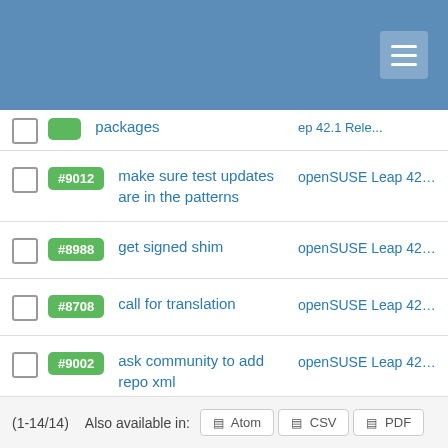#9012 make sure test updates are in the patterns | openSUSE Leap 42.1 Rele...
#8988 get signed shim | openSUSE Leap 42.1 Rele...
#8708 call for translation | openSUSE Leap 42.1 Rele...
#9002 ask community to add repo xml | openSUSE Leap 42.1 Rele...
#8730 create test plan for manual testing | openSUSE Leap 42.1 Rele...
(1-14/14)  Also available in:  Atom  CSV  PDF